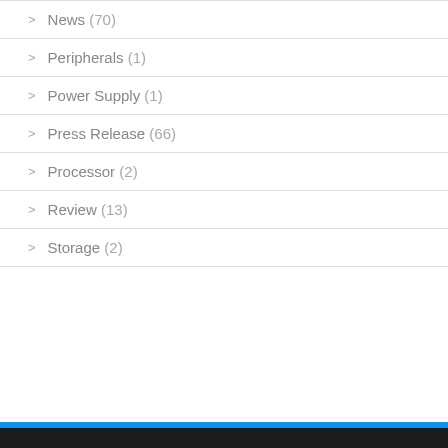News (70)
Peripherals (1)
Power Supply (1)
Press Release (66)
Processor (2)
Review (13)
Storage (2)